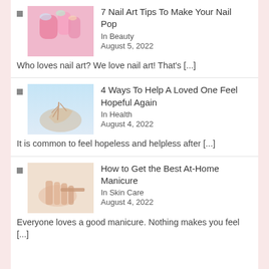7 Nail Art Tips To Make Your Nail Pop | In Beauty | August 5, 2022 | Who loves nail art? We love nail art! That's [...]
4 Ways To Help A Loved One Feel Hopeful Again | In Health | August 4, 2022 | It is common to feel hopeless and helpless after [...]
How to Get the Best At-Home Manicure | In Skin Care | August 4, 2022 | Everyone loves a good manicure. Nothing makes you feel [...]